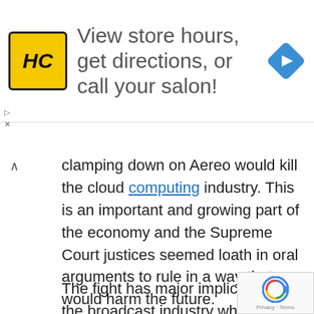[Figure (infographic): Advertisement banner: HC salon logo (yellow square with HC text), text 'View store hours, get directions, or call your salon!', blue diamond navigation icon on the right]
clamping down on Aereo would kill the cloud computing industry. This is an important and growing part of the economy and the Supreme Court justices seemed loath in oral arguments to rule in a way that would harm the future.
The fight has major implications to the broadcast industry which has been relying on fees from cable systems for retransmission of broadcast signals to bolster advertising revenues. A Supreme Court decision that